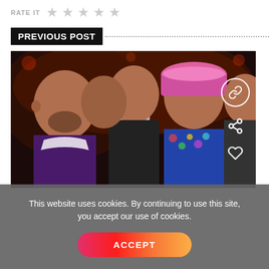RATE IT ☆ ☆ ☆ ☆ ☆
PREVIOUS POST
[Figure (photo): Eurovision winners photo — group of men, one holding the Eurovision trophy, one wearing a pink bucket hat with tattoos visible; social sharing icons overlay on right side]
This website uses cookies. By continuing to use this site, you accept our use of cookies.
ACCEPT